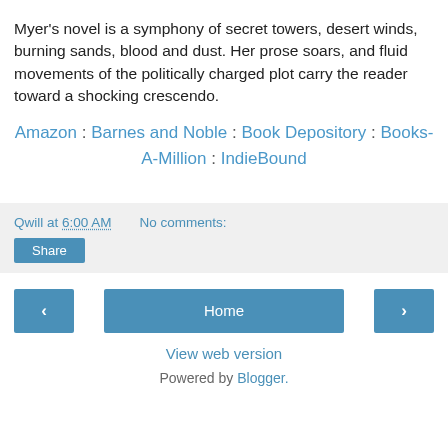Myer's novel is a symphony of secret towers, desert winds, burning sands, blood and dust. Her prose soars, and fluid movements of the politically charged plot carry the reader toward a shocking crescendo.
Amazon : Barnes and Noble : Book Depository : Books-A-Million : IndieBound
Qwill at 6:00 AM    No comments:
Share
‹
Home
›
View web version
Powered by Blogger.